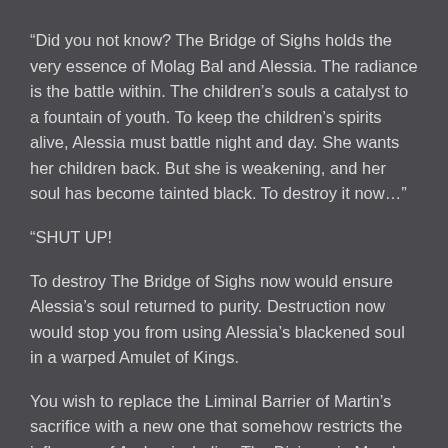“Did you not know? The Bridge of Sighs holds the very essence of Molag Bal and Alessia. The radiance is the battle within. The children’s souls a catalyst to a fountain of youth. To keep the children’s spirits alive, Alessia must battle night and day. She wants her children back. But she is weakening, and her soul has become tainted black. To destroy it now…”
“SHUT UP!
To destroy The Bridge of Sighs now would ensure Alessia’s soul returned to purity. Destruction now would stop you from using Alessia’s blackened soul in a warped Amulet of Kings.
You wish to replace the Liminal Barrier of Martin’s sacrifice with a new one that somehow restricts the influence of Aedra, including The Divines, in Mundus. Any Daedric Lord who creates a portal to Nirn would be unchallenged by The Nine or other Aedra. That would not bring peace! Imagine Boethia and Molag Bal sharing